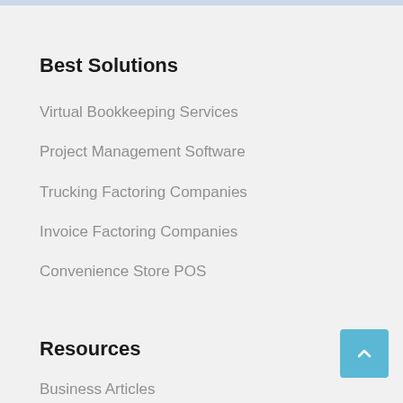Best Solutions
Virtual Bookkeeping Services
Project Management Software
Trucking Factoring Companies
Invoice Factoring Companies
Convenience Store POS
Resources
Business Articles